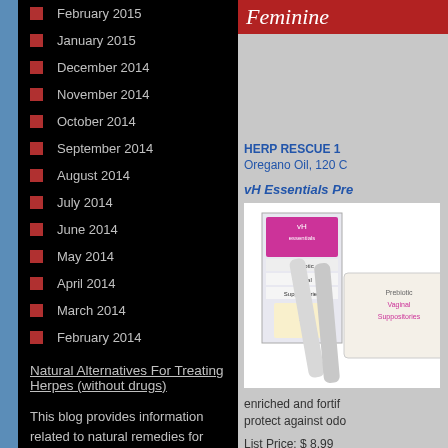February 2015
January 2015
December 2014
November 2014
October 2014
September 2014
August 2014
July 2014
June 2014
May 2014
April 2014
March 2014
February 2014
Natural Alternatives For Treating Herpes (without drugs)
This blog provides information related to natural remedies for herpes or other ailments. All health-related information provided via our site is intended to educate and inform visitors about illnesses and conditions and ways to maintain optimum health. You
Feminine
HERP RESCUE 1
Oregano Oil, 120 C
vH Essentials Pre
[Figure (photo): Product image of vH Essentials Prebiotic Vaginal Suppositories packaging]
enriched and fortif protect against odo
List Price: $ 8.99